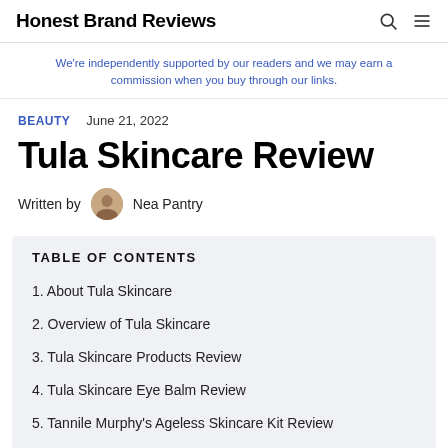Honest Brand Reviews
We're independently supported by our readers and we may earn a commission when you buy through our links.
BEAUTY   June 21, 2022
Tula Skincare Review
Written by Nea Pantry
TABLE OF CONTENTS
1. About Tula Skincare
2. Overview of Tula Skincare
3. Tula Skincare Products Review
4. Tula Skincare Eye Balm Review
5. Tannile Murphy's Ageless Skincare Kit Review